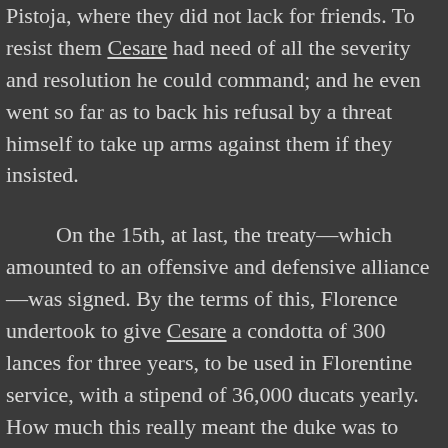Pistoja, where they did not lack for friends. To resist them Cesare had need of all the severity and resolution he could command; and he even went so far as to back his refusal by a threat himself to take up arms against them if they insisted.

On the 15th, at last, the treaty—which amounted to an offensive and defensive alliance—was signed. By the terms of this, Florence undertook to give Cesare a condotta of 300 lances for three years, to be used in Florentine service, with a stipend of 36,000 ducats yearly. How much this really meant the duke was to discover two days later, when he sent to ask the Signory to lend him some cannon for the emprise against Piombino, and to pay him the first instalment of one quarter of the yearly